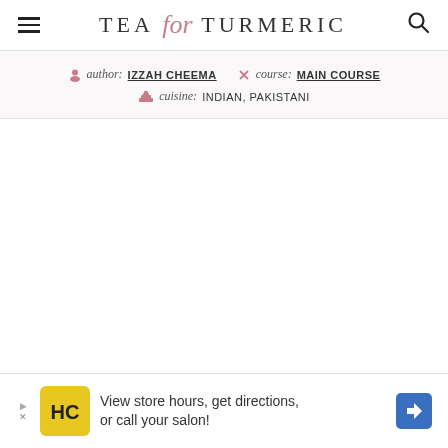TEA for TURMERIC
author: IZZAH CHEEMA  course: MAIN COURSE  cuisine: INDIAN, PAKISTANI
[Figure (infographic): Advertisement banner showing HC logo with text 'View store hours, get directions, or call your salon!']